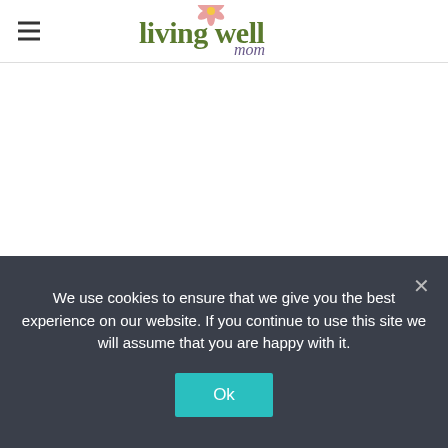living well mom
Graham Bread is Paleo-friendly with no grain, dairy, corn, or refined sugar,
We use cookies to ensure that we give you the best experience on our website. If you continue to use this site we will assume that you are happy with it.